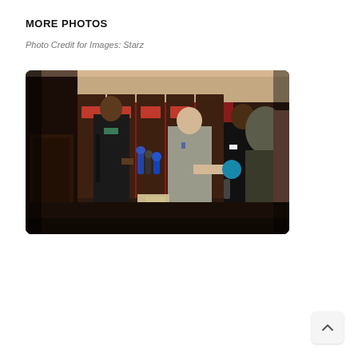MORE PHOTOS
Photo Credit for Images: Starz
[Figure (photo): A locker room interview scene with a tall young man in a black jacket being interviewed by multiple reporters holding microphones, with a man in a grey suit visible in the background and another person in a black suit to the right. Red lockers and signage visible in the background.]